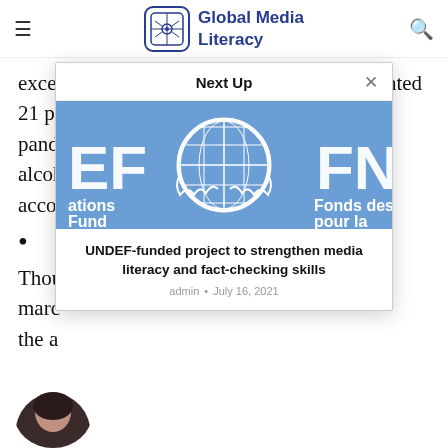Global Media Literacy
excessive drinking jumped by an unprecedented 21 percent last year, when the coronavirus pandemic struc
alcoh
acco
Thou
marc
the a
[Figure (screenshot): Next Up modal dialog showing a UN logo banner image with text 'EF', 'ations Fund', 'FN', 'Fonds des pour la' on blue background]
UNDEF-funded project to strengthen media literacy and fact-checking skills
admin • July 16, 2021